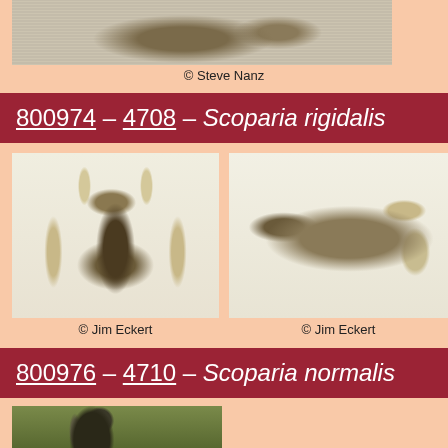[Figure (photo): Partial moth specimen photo, top of page]
© Steve Nanz
800974 – 4708 – Scoparia rigidalis
[Figure (photo): Scoparia rigidalis moth specimen, dorsal view, photo by Jim Eckert]
© Jim Eckert
[Figure (photo): Scoparia rigidalis moth specimen, lateral view, photo by Jim Eckert]
© Jim Eckert
800976 – 4710 – Scoparia normalis
[Figure (photo): Scoparia normalis moth specimen, partial view at bottom of page]